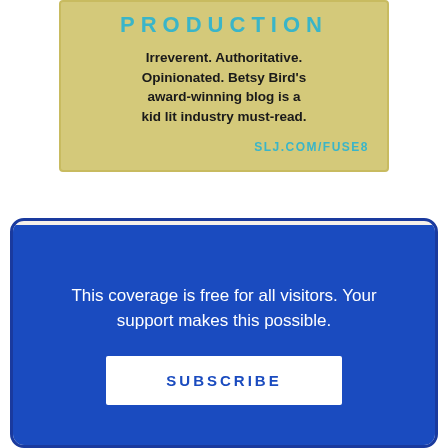[Figure (other): Advertisement banner with gold/yellow background showing 'PRODUCTION' in teal letters, promotional text about Betsy Bird's blog, and SLJ.COM/FUSE8 link]
RELATED ARTICLES ON SLJ
[Figure (photo): Partial photo of a person wearing a fur-lined hood or collar, partially cropped]
This coverage is free for all visitors. Your support makes this possible.
SUBSCRIBE